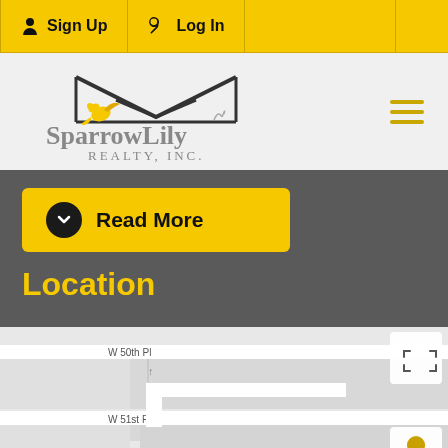Sign Up | Log In
[Figure (logo): SparrowLily Realty, Inc. logo with bird and house outline]
Read More
Location
[Figure (map): Street map showing location with 550K price marker near W 51st Pl, W 52nd St, W 52nd Pl area]